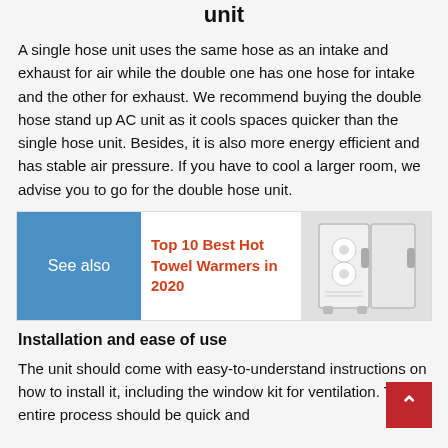unit
A single hose unit uses the same hose as an intake and exhaust for air while the double one has one hose for intake and the other for exhaust. We recommend buying the double hose stand up AC unit as it cools spaces quicker than the single hose unit. Besides, it is also more energy efficient and has stable air pressure. If you have to cool a larger room, we advise you to go for the double hose unit.
[Figure (infographic): See also box with blue button labeled 'See also', red link text 'Top 10 Best Hot Towel Warmers in 2020', and an image of a towel warmer appliance on the right.]
Installation and ease of use
The unit should come with easy-to-understand instructions on how to install it, including the window kit for ventilation. The entire process should be quick and